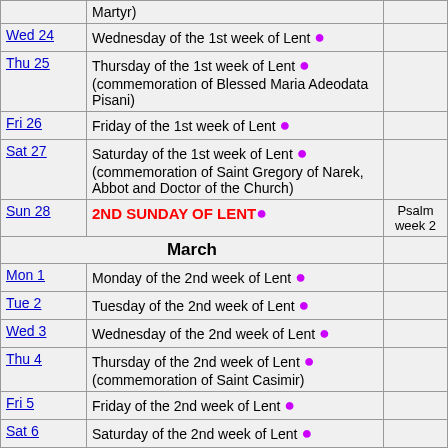| Date | Observance | Note |
| --- | --- | --- |
|  | Martyr) |  |
| Wed 24 | Wednesday of the 1st week of Lent ● |  |
| Thu 25 | Thursday of the 1st week of Lent ● (commemoration of Blessed Maria Adeodata Pisani) |  |
| Fri 26 | Friday of the 1st week of Lent ● |  |
| Sat 27 | Saturday of the 1st week of Lent ● (commemoration of Saint Gregory of Narek, Abbot and Doctor of the Church) |  |
| Sun 28 | 2ND SUNDAY OF LENT ● | Psalm week 2 |
| March |  |  |
| Mon 1 | Monday of the 2nd week of Lent ● |  |
| Tue 2 | Tuesday of the 2nd week of Lent ● |  |
| Wed 3 | Wednesday of the 2nd week of Lent ● |  |
| Thu 4 | Thursday of the 2nd week of Lent ● (commemoration of Saint Casimir) |  |
| Fri 5 | Friday of the 2nd week of Lent ● |  |
| Sat 6 | Saturday of the 2nd week of Lent ● |  |
| Sun 7 | 3RD SUNDAY OF LENT ● | Psalm week 3 |